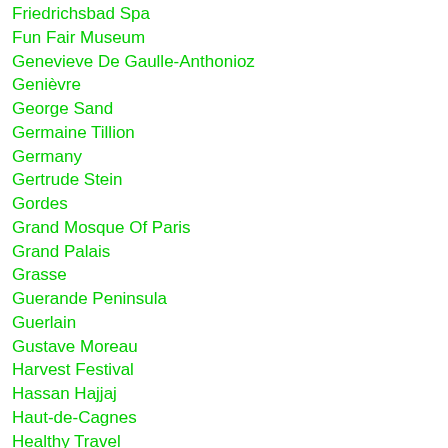Friedrichsbad Spa
Fun Fair Museum
Genevieve De Gaulle-Anthonioz
Genièvre
George Sand
Germaine Tillion
Germany
Gertrude Stein
Gordes
Grand Mosque Of Paris
Grand Palais
Grasse
Guerande Peninsula
Guerlain
Gustave Moreau
Harvest Festival
Hassan Hajjaj
Haut-de-Cagnes
Healthy Travel
Hediard
Henri Le Roux